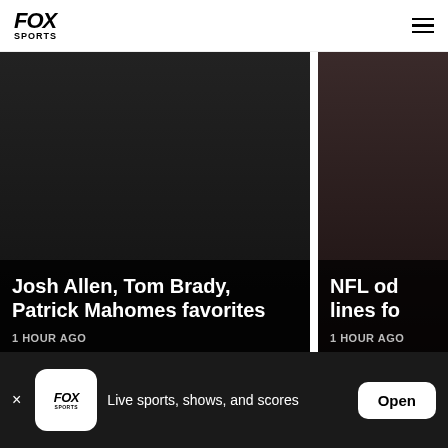FOX SPORTS
Josh Allen, Tom Brady, Patrick Mahomes favorites
1 HOUR AGO
NFL od lines fo
1 HOUR AGO
SPONSORED CONTENT
Taboola Feed
[Figure (photo): Group of people in blue t-shirts standing on a city street]
Live sports, shows, and scores
Open